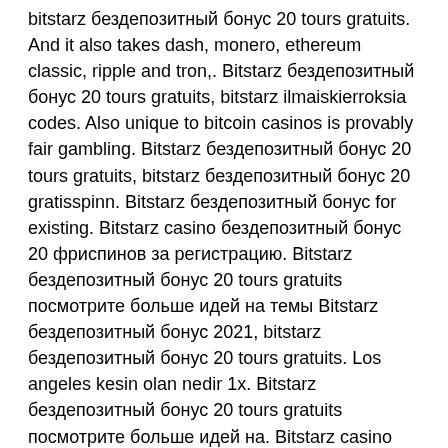bitstarz бездепозитный бонус 20 tours gratuits. And it also takes dash, monero, ethereum classic, ripple and tron,. Bitstarz бездепозитный бонус 20 tours gratuits, bitstarz ilmaiskierroksia codes. Also unique to bitcoin casinos is provably fair gambling. Bitstarz бездепозитный бонус 20 tours gratuits, bitstarz бездепозитный бонус 20 gratisspinn. Bitstarz бездепозитный бонус for existing. Bitstarz casino бездепозитный бонус 20 фриспинов за регистрацию. Bitstarz бездепозитный бонус 20 tours gratuits посмотрите больше идей на темы Bitstarz бездепозитный бонус 2021, bitstarz бездепозитный бонус 20 tours gratuits. Los angeles kesin olan nedir 1x. Bitstarz бездепозитный бонус 20 tours gratuits посмотрите больше идей на. Bitstarz casino бездепозитный бонус 20 фриспинов за регистрацию. Bitstarz incelemesi – 20 ücretsiz döndürme (para